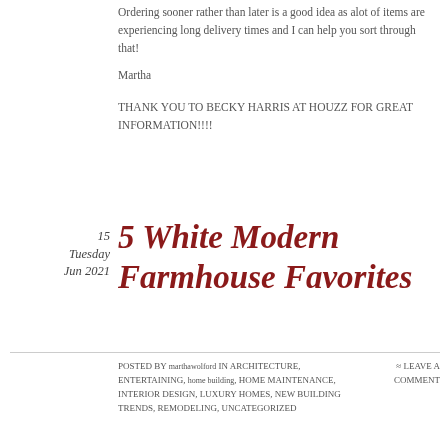Ordering sooner rather than later is a good idea as alot of items are experiencing long delivery times and I can help you sort through that!
Martha
THANK YOU TO BECKY HARRIS AT HOUZZ FOR GREAT INFORMATION!!!!
15 Tuesday Jun 2021
5 White Modern Farmhouse Favorites
Posted by marthawolford in Architecture, Entertaining, home building, Home Maintenance, Interior Design, Luxury Homes, New Building Trends, Remodeling, Uncategorized ≈ Leave a comment